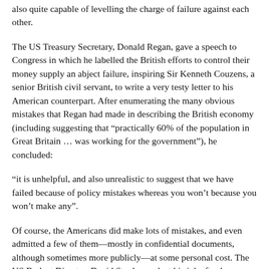also quite capable of levelling the charge of failure against each other.
The US Treasury Secretary, Donald Regan, gave a speech to Congress in which he labelled the British efforts to control their money supply an abject failure, inspiring Sir Kenneth Couzens, a senior British civil servant, to write a very testy letter to his American counterpart. After enumerating the many obvious mistakes that Regan had made in describing the British economy (including suggesting that “practically 60% of the population in Great Britain … was working for the government”), he concluded:
“it is unhelpful, and also unrealistic to suggest that we have failed because of policy mistakes whereas you won’t because you won’t make any”.
Of course, the Americans did make lots of mistakes, and even admitted a few of them—mostly in confidential documents, although sometimes more publicly—at some personal cost. The US Budget Director, David Stockman, lost his job after he